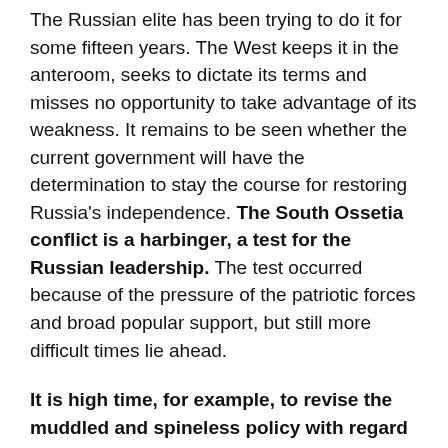The Russian elite has been trying to do it for some fifteen years. The West keeps it in the anteroom, seeks to dictate its terms and misses no opportunity to take advantage of its weakness. It remains to be seen whether the current government will have the determination to stay the course for restoring Russia's independence. The South Ossetia conflict is a harbinger, a test for the Russian leadership. The test occurred because of the pressure of the patriotic forces and broad popular support, but still more difficult times lie ahead.
It is high time, for example, to revise the muddled and spineless policy with regard to Ukraine. Ukraine's admission to NATO which would bring the hostile bloc to the Kursk-Don-Krasnodar line with subsequent extension of that line to the Caucasus must be prevented. Kiev is currently run by out-and-out nationalists, the heirs to that traitor, Mazepa, and the Caucasus line, Bandera. The annexation of